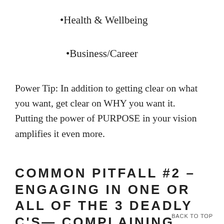•Health & Wellbeing
•Business/Career
Power Tip: In addition to getting clear on what you want, get clear on WHY you want it. Putting the power of PURPOSE in your vision amplifies it even more.
COMMON PITFALL #2 – ENGAGING IN ONE OR ALL OF THE 3 DEADLY C'S— COMPLAINING, CRITICIZING OR
BACK TO TOP